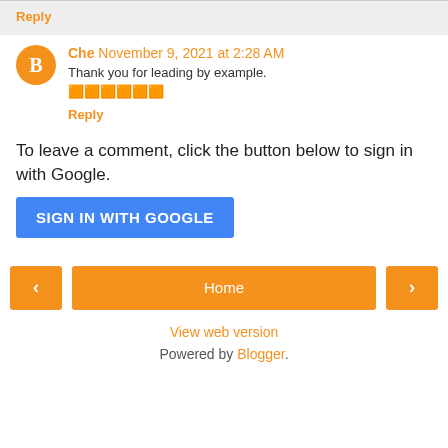Reply
Che November 9, 2021 at 2:28 AM
Thank you for leading by example.
🟧🟧🟧🟧🟧🟧
Reply
To leave a comment, click the button below to sign in with Google.
SIGN IN WITH GOOGLE
Home
View web version
Powered by Blogger.